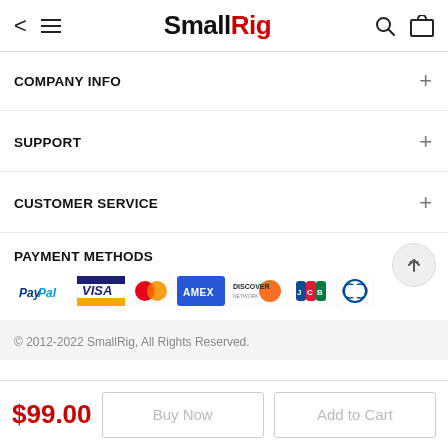SmallRig
COMPANY INFO
SUPPORT
CUSTOMER SERVICE
PAYMENT METHODS
[Figure (logo): Payment method logos: PayPal, Visa, Mastercard, AMEX, Discover, JCB, Diners Club]
© 2012-2022 SmallRig, All Rights Reserved.
$99.00  Buy Now  Add to Cart